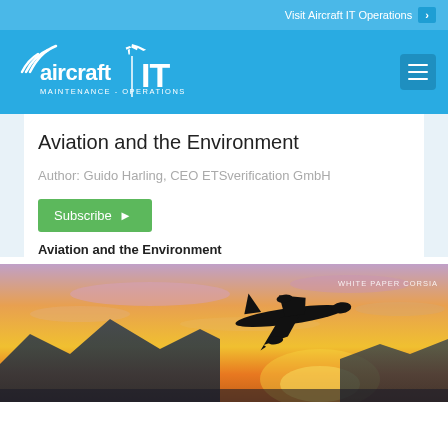Visit Aircraft IT Operations ❯
[Figure (logo): Aircraft IT Maintenance - Operations logo in white on blue background]
Aviation and the Environment
Author: Guido Harling, CEO ETSverification GmbH
Subscribe ▶
Aviation and the Environment
[Figure (photo): Airplane silhouette flying against a dramatic sunset sky with mountains in the background. Text overlay: WHITE PAPER CORSIA]